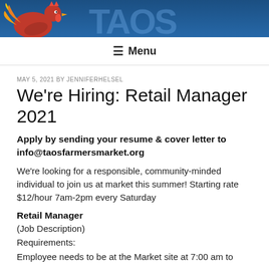[Figure (illustration): Website header banner with a rooster illustration on the left and large 'TAOS' text on right, dark blue background]
≡ Menu
MAY 5, 2021 BY JENNIFERHELSEL
We're Hiring: Retail Manager 2021
Apply by sending your resume & cover letter to info@taosfarmersmarket.org
We're looking for a responsible, community-minded individual to join us at market this summer! Starting rate $12/hour 7am-2pm every Saturday
Retail Manager
(Job Description)
Requirements:
Employee needs to be at the Market site at 7:00 am to